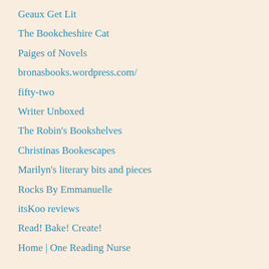Geaux Get Lit
The Bookcheshire Cat
Paiges of Novels
bronasbooks.wordpress.com/
fifty-two
Writer Unboxed
The Robin's Bookshelves
Christinas Bookescapes
Marilyn's literary bits and pieces
Rocks By Emmanuelle
itsKoo reviews
Read! Bake! Create!
Home | One Reading Nurse